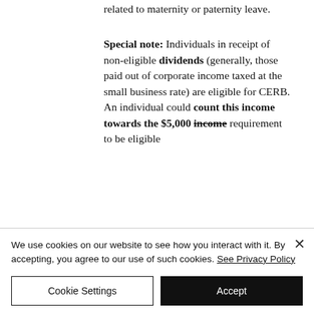related to maternity or paternity leave.
Special note: Individuals in receipt of non-eligible dividends (generally, those paid out of corporate income taxed at the small business rate) are eligible for CERB. An individual could count this income towards the $5,000 income requirement to be eligible
We use cookies on our website to see how you interact with it. By accepting, you agree to our use of such cookies. See Privacy Policy